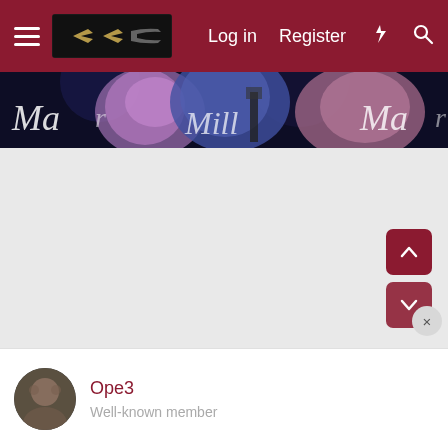Log in  Register
[Figure (screenshot): Website navigation bar with hamburger menu, logo, Log in, Register, lightning bolt icon, and search icon on dark red background]
[Figure (photo): Concert or music event photo showing musicians with Marshall amplifiers in background, colorful hair visible]
[Figure (screenshot): Large gray empty content area with scroll up (dark red arrow up) and scroll down (dark red arrow down) buttons on the right side, and a close X button]
Ope3
Well-known member